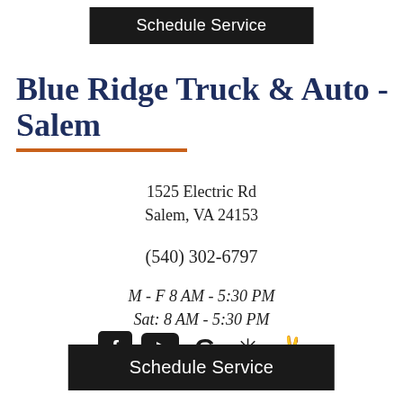Schedule Service
Blue Ridge Truck & Auto - Salem
1525 Electric Rd
Salem, VA 24153
(540) 302-6797
M - F 8 AM - 5:30 PM
Sat: 8 AM - 5:30 PM
[Figure (other): Social media icons: Facebook, YouTube, Google, Yelp, Yelp/Peace hand]
Schedule Service